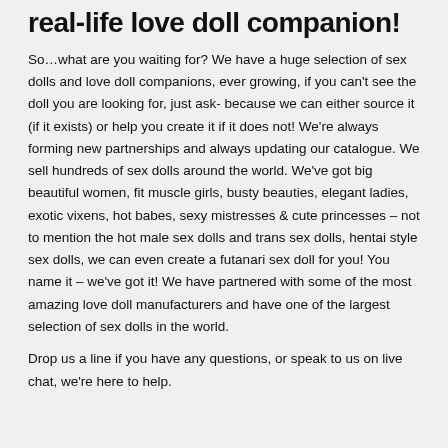real-life love doll companion!
So…what are you waiting for? We have a huge selection of sex dolls and love doll companions, ever growing, if you can't see the doll you are looking for, just ask- because we can either source it (if it exists) or help you create it if it does not! We're always forming new partnerships and always updating our catalogue. We sell hundreds of sex dolls around the world. We've got big beautiful women, fit muscle girls, busty beauties, elegant ladies, exotic vixens, hot babes, sexy mistresses & cute princesses – not to mention the hot male sex dolls and trans sex dolls, hentai style sex dolls, we can even create a futanari sex doll for you! You name it – we've got it! We have partnered with some of the most amazing love doll manufacturers and have one of the largest selection of sex dolls in the world.
Drop us a line if you have any questions, or speak to us on live chat, we're here to help.